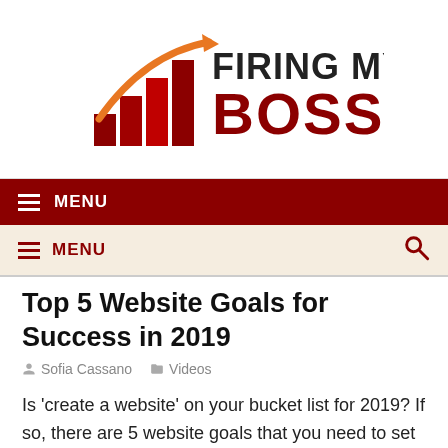[Figure (logo): Firing My Boss logo with red bar chart graphic and orange upward arrow, bold text reading FIRING MY BOSS]
≡ MENU
≡ MENU 🔍
Top 5 Website Goals for Success in 2019
Sofia Cassano   Videos
Is 'create a website' on your bucket list for 2019? If so, there are 5 website goals that you need to set for success this year!
FREE website goal setting workbook here: https://www.solopreneursidekick.com/website-